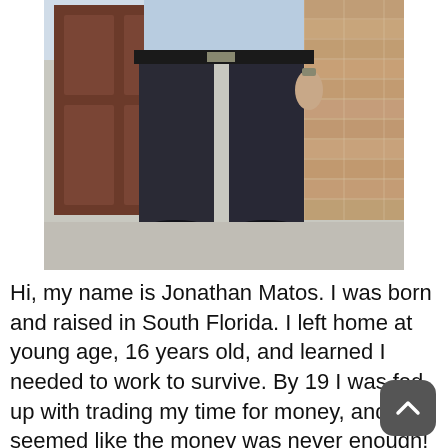[Figure (photo): A man standing in front of a brown door and brick wall, wearing dark dress pants, a light blue dress shirt, black belt, and black dress shoes. Only his torso and legs are visible, not his face.]
Hi, my name is Jonathan Matos. I was born and raised in South Florida. I left home at young age, 16 years old, and learned I needed to work to survive. By 19 I was fed up with trading my time for money, and just seemed like the money was never enough! This is when I began to look for my